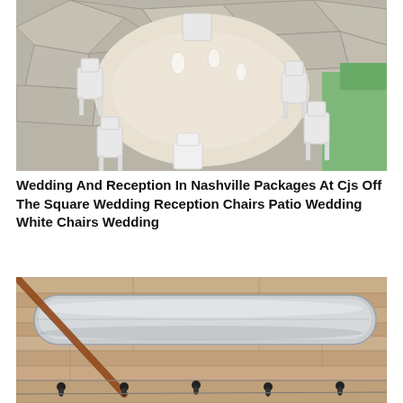[Figure (photo): Outdoor patio wedding reception with a round table covered in a cream/champagne tablecloth, surrounded by white folding chairs on a stone patio with green grass in the background.]
Wedding And Reception In Nashville Packages At Cjs Off The Square Wedding Reception Chairs Patio Wedding White Chairs Wedding
[Figure (photo): Interior of a rustic barn venue showing exposed wooden plank walls with a large silver ventilation/HVAC duct running horizontally, with string lights visible below.]